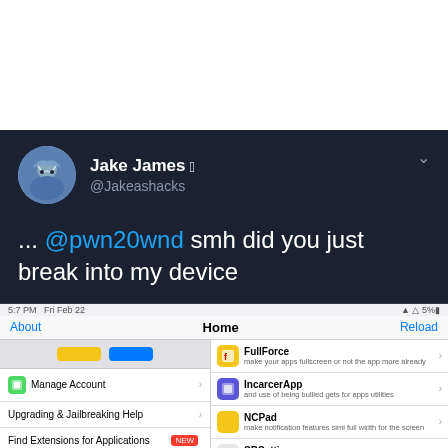[Figure (screenshot): Tweet by Jake James (@Jakeashacks) on dark background saying '... @pwn20wnd smh did you just break into my device' with a screenshot of Cydia (jailbreak app store) showing menu items including Manage Account, Upgrading & Jailbreaking Help, Find Extensions for Applications, More Package Sources on the left, and FullForce, IncarcerApp, NCPad, SBSettings, SplitMail on the right. Below is a Walgreens ad banner reading 'Essentials Back In Stock / Walgreens Photo'.]